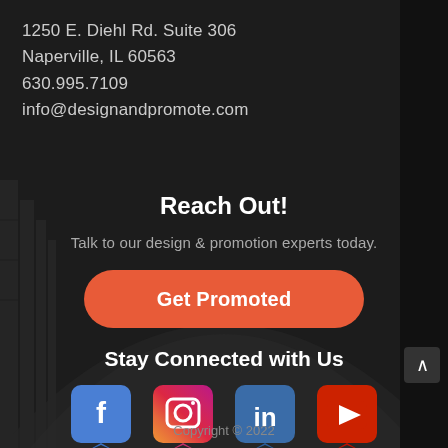1250 E. Diehl Rd. Suite 306
Naperville, IL 60563
630.995.7109
info@designandpromote.com
Reach Out!
Talk to our design & promotion experts today.
Get Promoted
Stay Connected with Us
[Figure (illustration): Four social media icons in speech-bubble style: Facebook (blue), Instagram (gradient purple/orange), LinkedIn (blue), YouTube (red)]
Copyright © 2022